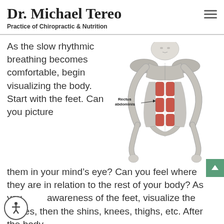Dr. Michael Tereo
Practice of Chiropractic & Nutrition
As the slow rhythmic breathing becomes comfortable, begin visualizing the body. Start with the feet.  Can you picture them in your mind's eye?  Can you feel where they are in relation to the rest of your body?  As you gain awareness of the feet, visualize the ankles, then the shins, knees, thighs, etc.  After the body
[Figure (illustration): Anatomical illustration of a human male torso showing muscles, with the Rectus abdominis muscle highlighted in red, and a label pointing to it reading 'Rectus abdominis']